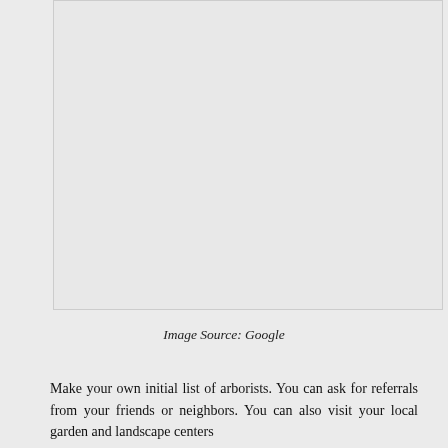[Figure (other): A large blank/placeholder image area with light gray background and border]
Image Source: Google
Make your own initial list of arborists. You can ask for referrals from your friends or neighbors. You can also visit your local garden and landscape centers